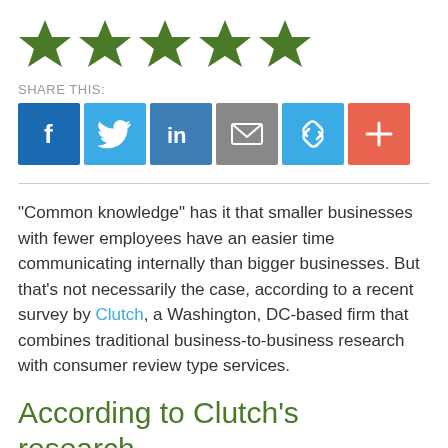[Figure (other): Five green five-pointed stars in a row (rating stars)]
SHARE THIS:
[Figure (other): Row of social sharing buttons: Facebook (dark blue, f), Twitter (light blue, bird), LinkedIn (medium blue, in), Email (gray, envelope), Link (light blue, chain), More (salmon/red, plus)]
“Common knowledge” has it that smaller businesses with fewer employees have an easier time communicating internally than bigger businesses. But that’s not necessarily the case, according to a recent survey by Clutch, a Washington, DC-based firm that combines traditional business-to-business research with consumer review type services.
According to Clutch’s research,